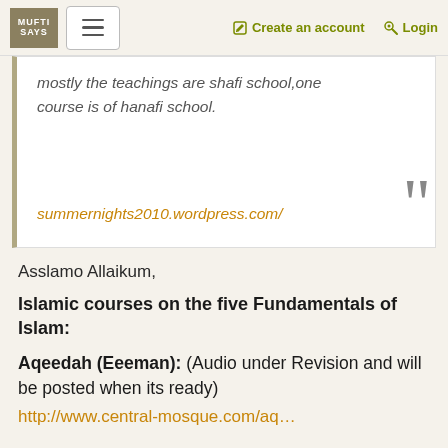MUFTI SAYS | Create an account | Login
mostly the teachings are shafi school,one course is of hanafi school. summernights2010.wordpress.com/
Asslamo Allaikum,
Islamic courses on the five Fundamentals of Islam:
Aqeedah (Eeeman): (Audio under Revision and will be posted when its ready)
http://www.central-mosque.com/aq...